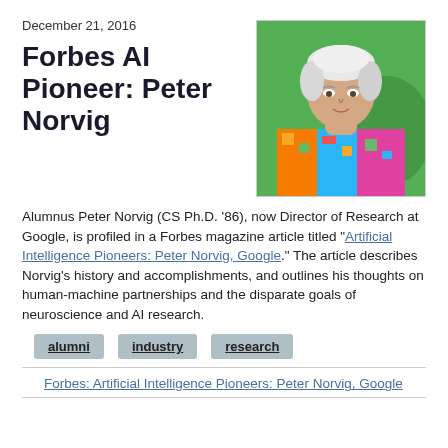December 21, 2016
Forbes AI Pioneer: Peter Norvig
[Figure (photo): Headshot of Peter Norvig, an older man with white hair wearing a colorful patterned shirt, posed in front of a green background.]
Alumnus Peter Norvig (CS Ph.D. '86), now Director of Research at Google, is profiled in a Forbes magazine article titled "Artificial Intelligence Pioneers: Peter Norvig, Google." The article describes Norvig's history and accomplishments, and outlines his thoughts on human-machine partnerships and the disparate goals of neuroscience and AI research.
alumni
industry
research
Forbes: Artificial Intelligence Pioneers: Peter Norvig, Google